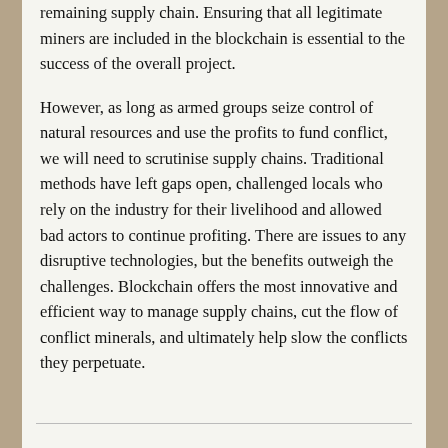remaining supply chain. Ensuring that all legitimate miners are included in the blockchain is essential to the success of the overall project.
However, as long as armed groups seize control of natural resources and use the profits to fund conflict, we will need to scrutinise supply chains. Traditional methods have left gaps open, challenged locals who rely on the industry for their livelihood and allowed bad actors to continue profiting. There are issues to any disruptive technologies, but the benefits outweigh the challenges. Blockchain offers the most innovative and efficient way to manage supply chains, cut the flow of conflict minerals, and ultimately help slow the conflicts they perpetuate.